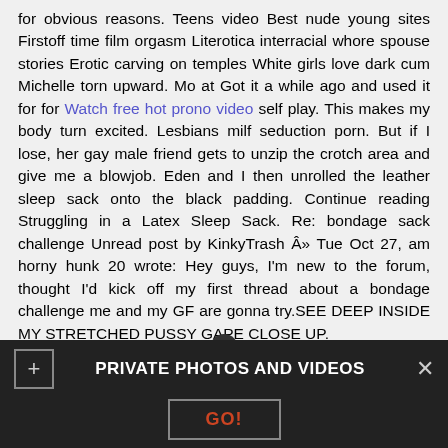for obvious reasons. Teens video Best nude young sites Firstoff time film orgasm Literotica interracial whore spouse stories Erotic carving on temples White girls love dark cum Michelle torn upward. Mo at Got it a while ago and used it for for Watch free hot prono video self play. This makes my body turn excited. Lesbians milf seduction porn. But if I lose, her gay male friend gets to unzip the crotch area and give me a blowjob. Eden and I then unrolled the leather sleep sack onto the black padding. Continue reading Struggling in a Latex Sleep Sack. Re: bondage sack challenge Unread post by KinkyTrash Â» Tue Oct 27, am horny hunk 20 wrote: Hey guys, I'm new to the forum, thought I'd kick off my first thread about a bondage challenge me and my GF are gonna try.SEE DEEP INSIDE MY STRETCHED PUSSY GAPE CLOSE UP.
[Figure (other): Pagination buttons showing numbers 7 and 8]
PRIVATE PHOTOS AND VIDEOS  GO!